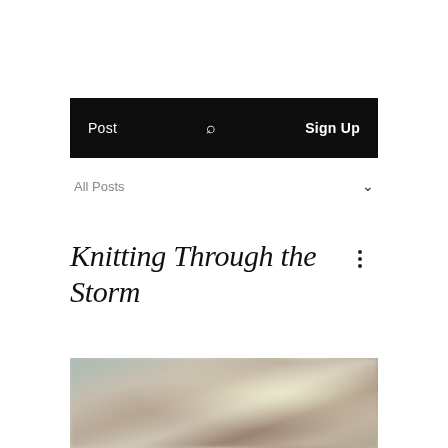Post  🔍  Sign Up
All Posts
Knitting Through the Storm
[Figure (photo): Blurred photograph, likely of knitted or crafted items, with soft warm and cool tones]